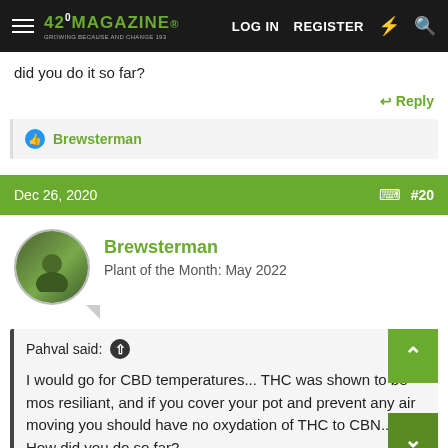420MAGAZINE LOG IN REGISTER
did you do it so far?
↩ Reply
👍 Brewsterman
Dec 26, 2020  #20
Brewsterman
Plant of the Month: May 2022
Pahval said: ↑

I would go for CBD temperatures... THC was shown to be most resiliant, and if you cover your pot and prevent any air movin you should have no oxydation of THC to CBN... How did you do it so far?